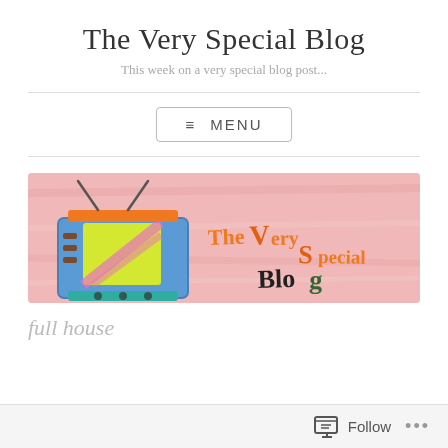The Very Special Blog
This week on a very special blog post...
≡ MENU
[Figure (illustration): Hand-drawn illustration of a vintage television set with antenna on a pink background, with colorful text reading 'The Very Special Blog' in orange, green, and black handwritten letters]
full house
Follow  ...